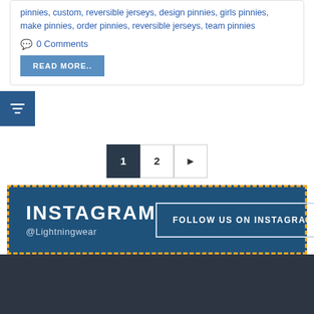pinnies, custom, reversible jerseys, design pinnies, girls pinnies, make pinnies, order pinnies, reversible jerseys, team pinnies
0 Comments
READ MORE..
[Figure (other): Filter/settings icon button (blue square with horizontal lines icon)]
1 2 ▶ (pagination)
INSTAGRAM
@Lightningwear
FOLLOW US ON INSTAGRAM
QUICK LINKS